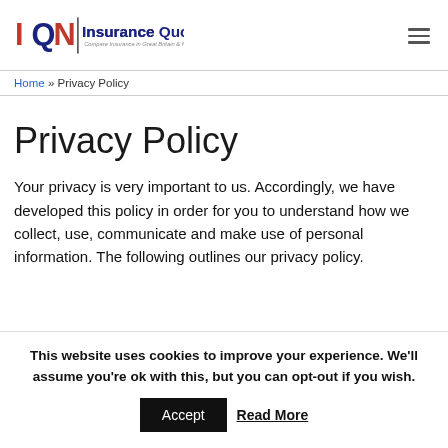[Figure (logo): Insurance Quotes N logo with IQN monogram, tagline: Compare Insurance in Great Britain & Northern Ireland]
Home » Privacy Policy
Privacy Policy
Your privacy is very important to us. Accordingly, we have developed this policy in order for you to understand how we collect, use, communicate and make use of personal information. The following outlines our privacy policy.
This website uses cookies to improve your experience. We'll assume you're ok with this, but you can opt-out if you wish. Accept Read More